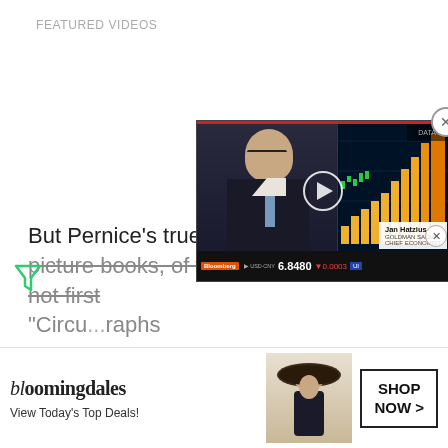FEATURED VIDEOS
But Pernice's true love is w picture books, of which "Circus Tails" is not first "Circu...raphs
[Figure (screenshot): Embedded video player overlay showing a financial news broadcast with a man in glasses and a suit in front of trading screens with bar charts. Ticker shows USD/CNY 6.8480 down 0.0003. Name card reads Jan Hatzius Goldman Sachs Chief Economist. Bottom shows Bloomberg ticker bar.]
[Figure (screenshot): Bloomingdales advertisement banner showing logo, 'View Today's Top Deals!' tagline, woman in hat image, and SHOP NOW button.]